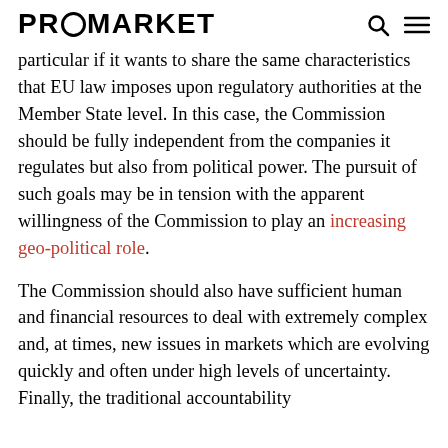PROMARKET
particular if it wants to share the same characteristics that EU law imposes upon regulatory authorities at the Member State level. In this case, the Commission should be fully independent from the companies it regulates but also from political power. The pursuit of such goals may be in tension with the apparent willingness of the Commission to play an increasing geo-political role.
The Commission should also have sufficient human and financial resources to deal with extremely complex and, at times, new issues in markets which are evolving quickly and often under high levels of uncertainty. Finally, the traditional accountability